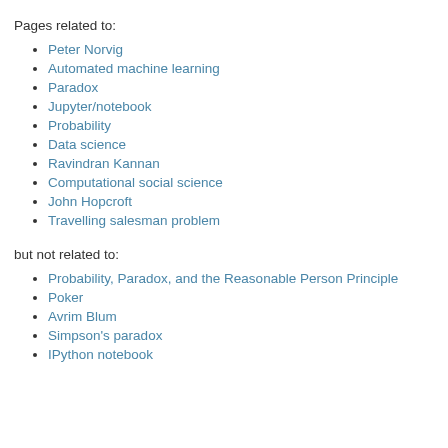Pages related to:
Peter Norvig
Automated machine learning
Paradox
Jupyter/notebook
Probability
Data science
Ravindran Kannan
Computational social science
John Hopcroft
Travelling salesman problem
but not related to:
Probability, Paradox, and the Reasonable Person Principle
Poker
Avrim Blum
Simpson's paradox
IPython notebook